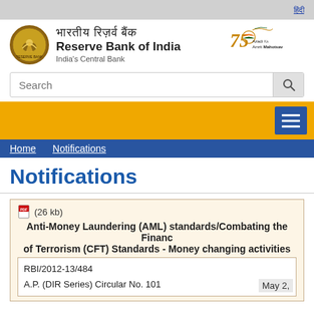हिंदी
[Figure (logo): Reserve Bank of India emblem and logo with Hindi text 'भारतीय रिज़र्व बैंक', bold text 'Reserve Bank of India', tagline 'India's Central Bank', and Azadi Ka Amrit Mahotsav logo on the right]
Search
Home   Notifications
Notifications
(26 kb)
Anti-Money Laundering (AML) standards/Combating the Financing of Terrorism (CFT) Standards - Money changing activities
RBI/2012-13/484
A.P. (DIR Series) Circular No. 101
May 2,